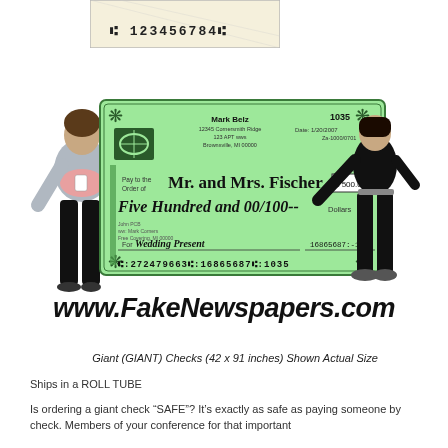[Figure (photo): Small stub of a check at the top showing MICR numbers ':123456784...']
[Figure (photo): Two women holding a giant green check made out to Mr. and Mrs. Fischer for $500.00 for a Wedding Present, signed by Mark Belz, dated 1/20/2007, check number 1035, with MICR line ':272479663::16865687::1035'. The website www.FakeNewspapers.com is shown in large italic text below the image.]
Giant (GIANT) Checks (42 x 91 inches) Shown Actual Size
Ships in a ROLL TUBE
Is ordering a giant check "SAFE"? It's exactly as safe as paying someone by check. Members of your conference for that important